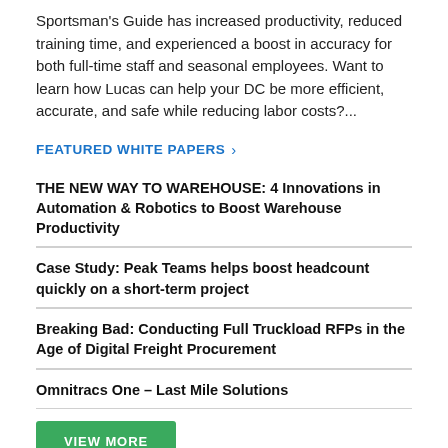Sportsman's Guide has increased productivity, reduced training time, and experienced a boost in accuracy for both full-time staff and seasonal employees. Want to learn how Lucas can help your DC be more efficient, accurate, and safe while reducing labor costs?...
FEATURED WHITE PAPERS >
THE NEW WAY TO WAREHOUSE: 4 Innovations in Automation & Robotics to Boost Warehouse Productivity
Case Study: Peak Teams helps boost headcount quickly on a short-term project
Breaking Bad: Conducting Full Truckload RFPs in the Age of Digital Freight Procurement
Omnitracs One – Last Mile Solutions
VIEW MORE